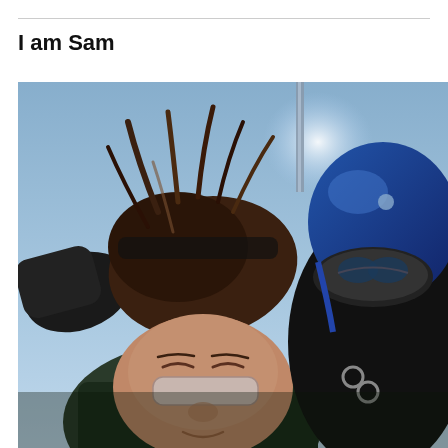I am Sam
[Figure (photo): A skydiving photo showing two people mid-air. In the foreground is a person with brown hair blowing upward, wearing goggles, eyes closed, and a green jacket. Behind them is an instructor wearing a blue helmet and dark goggles. The sky is light blue in the background and a metal pole is visible at the top.]